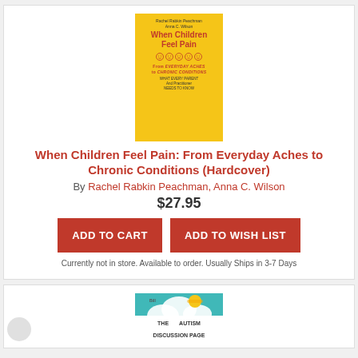[Figure (illustration): Book cover for 'When Children Feel Pain' with yellow background, red title text, face icons, and subtitle text]
When Children Feel Pain: From Everyday Aches to Chronic Conditions (Hardcover)
By Rachel Rabkin Peachman, Anna C. Wilson
$27.95
ADD TO CART
ADD TO WISH LIST
Currently not in store. Available to order. Usually Ships in 3-7 Days
[Figure (illustration): Book cover for 'The Autism Discussion Page' with teal/turquoise background and cloud/sun imagery]